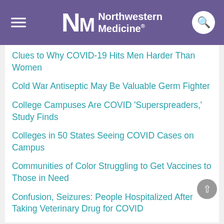Northwestern Medicine
Clues to Why COVID-19 Hits Men Harder Than Women
Cold War Antiseptic May Be Valuable Germ Fighter
College Campuses Are COVID 'Superspreaders,' Study Finds
Colleges in 50 States Seeing COVID Cases on Campus
Communities of Color Struggling to Get Vaccines to Those in Need
Confusion, Seizures: People Hospitalized After Taking Veterinary Drug for COVID
Congress Passes Pandemic Economic Relief